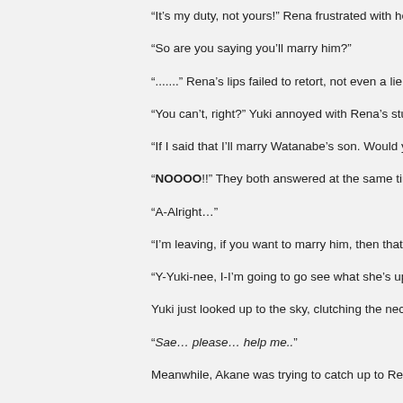“It’s my duty, not yours!” Rena frustrated with her twin,
“So are you saying you’ll marry him?”
“.......” Rena’s lips failed to retort, not even a lie.
“You can’t, right?” Yuki annoyed with Rena’s stubbornn
“If I said that I’ll marry Watanabe’s son. Would you stop
“NOOOO!!” They both answered at the same time
“A-Alright…”
“I’m leaving, if you want to marry him, then that’s fine w
“Y-Yuki-nee, I-I’m going to go see what she’s up to,” Ak
Yuki just looked up to the sky, clutching the necklace ar
“Sae… please… help me..”
Meanwhile, Akane was trying to catch up to Rena who
“Rena-nee!” Akane was getting Rena to stop, or at the
“What do you want from me, Chu-chan?!”